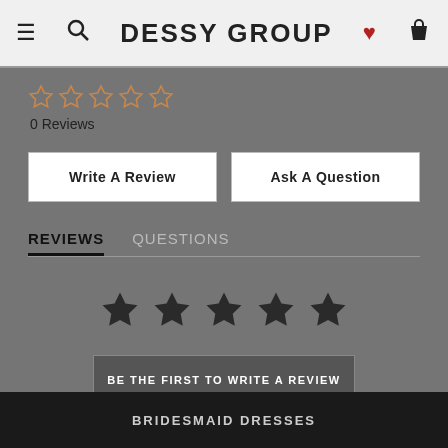DESSY GROUP
0 Reviews
Write A Review
Ask A Question
REVIEWS   QUESTIONS
BE THE FIRST TO WRITE A REVIEW
BRIDESMAID DRESSES